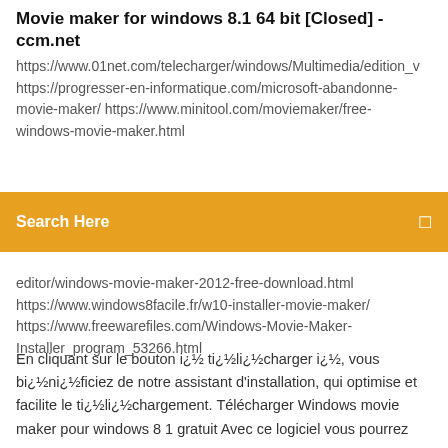Movie maker for windows 8.1 64 bit [Closed] - ccm.net
https://www.01net.com/telecharger/windows/Multimedia/edition_v https://progresser-en-informatique.com/microsoft-abandonne-movie-maker/ https://www.minitool.com/moviemaker/free-windows-movie-maker.html
Search Here
editor/windows-movie-maker-2012-free-download.html https://www.windows8facile.fr/w10-installer-movie-maker/ https://www.freewarefiles.com/Windows-Movie-Maker-Installer_program_53266.html
En cliquant sur le bouton i¿½ ti¿½li¿½charger i¿½, vous bi¿½ni¿½ficiez de notre assistant d'installation, qui optimise et facilite le ti¿½li¿½chargement. Télécharger Windows movie maker pour windows 8 1 gratuit Avec ce logiciel vous pourrez